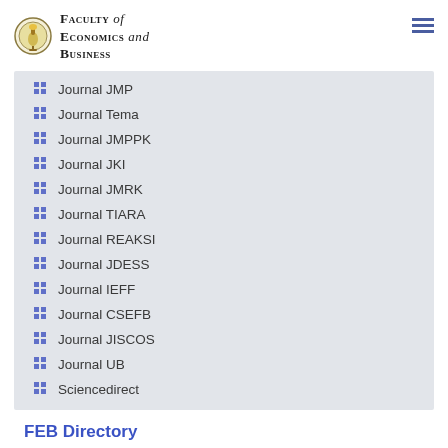Faculty of Economics and Business
Journal JMP
Journal Tema
Journal JMPPK
Journal JKI
Journal JMRK
Journal TIARA
Journal REAKSI
Journal JDESS
Journal IEFF
Journal CSEFB
Journal JISCOS
Journal UB
Sciencedirect
FEB Directory